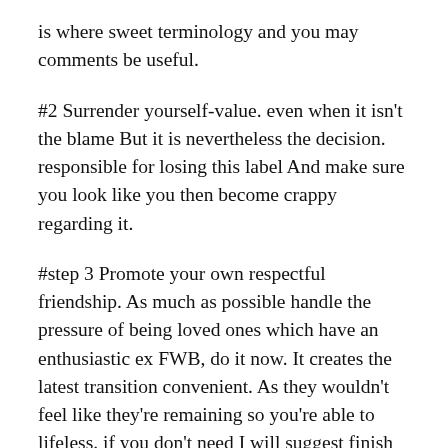is where sweet terminology and you may comments be useful.
#2 Surrender yourself-value. even when it isn't the blame But it is nevertheless the decision. responsible for losing this label And make sure you look like you then become crappy regarding it.
#step 3 Promote your own respectful friendship. As much as possible handle the pressure of being loved ones which have an enthusiastic ex FWB, do it now. It creates the latest transition convenient. As they wouldn't feel like they're remaining so you're able to lifeless. if you don't need I will suggest finish